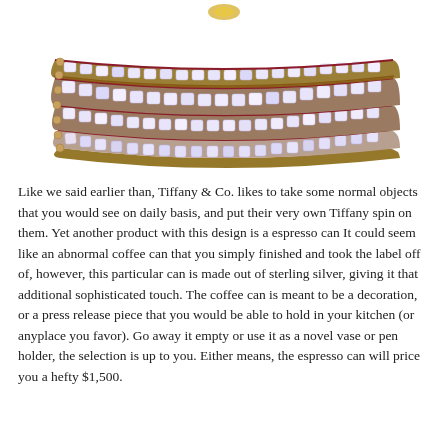[Figure (photo): Close-up photo of a crystal-beaded wrap bracelet with red and tan leather cords. Multiple rows of sparkling iridescent crystal beads are threaded onto twisted red/burgundy leather strands, with tan/brown seed beads visible along the edges.]
Like we said earlier than, Tiffany & Co. likes to take some normal objects that you would see on daily basis, and put their very own Tiffany spin on them. Yet another product with this design is a espresso can It could seem like an abnormal coffee can that you simply finished and took the label off of, however, this particular can is made out of sterling silver, giving it that additional sophisticated touch. The coffee can is meant to be a decoration, or a press release piece that you would be able to hold in your kitchen (or anyplace you favor). Go away it empty or use it as a novel vase or pen holder, the selection is up to you. Either means, the espresso can will price you a hefty $1,500.